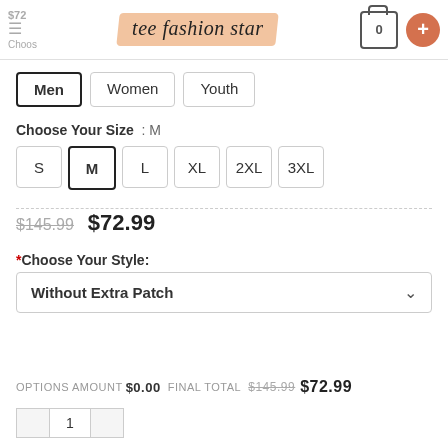tee fashion star — $72 cart: 0
Men (selected), Women, Youth
Choose Your Size : M
S, M (selected), L, XL, 2XL, 3XL
$145.99  $72.99
*Choose Your Style:
Without Extra Patch
OPTIONS AMOUNT $0.00 FINAL TOTAL $145.99  $72.99